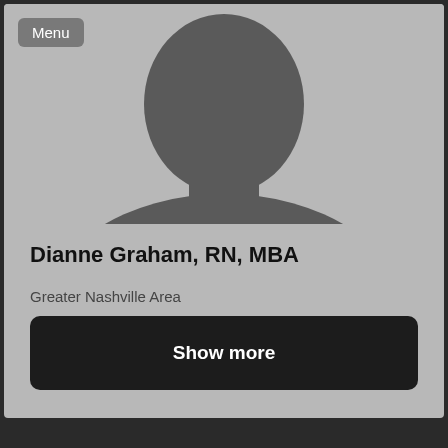[Figure (photo): Silhouette placeholder avatar image of a person (head and shoulders) on a gray background]
Dianne Graham, RN, MBA
Greater Nashville Area
Critical Care RN, MBA
Hospital & Health Care
Show more